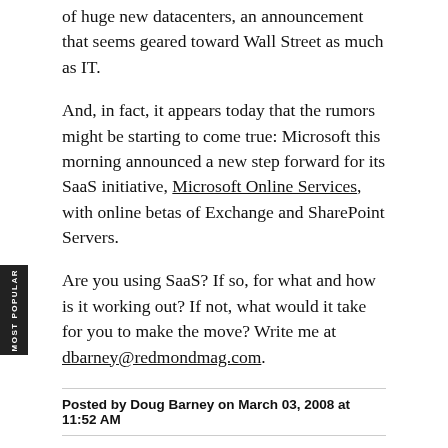of huge new datacenters, an announcement that seems geared toward Wall Street as much as IT.
And, in fact, it appears today that the rumors might be starting to come true: Microsoft this morning announced a new step forward for its SaaS initiative, Microsoft Online Services, with online betas of Exchange and SharePoint Servers.
Are you using SaaS? If so, for what and how is it working out? If not, what would it take for you to make the move? Write me at dbarney@redmondmag.com.
Posted by Doug Barney on March 03, 2008 at 11:52 AM
[Figure (other): Social media icons: Facebook (f), LinkedIn (in), Twitter (bird)]